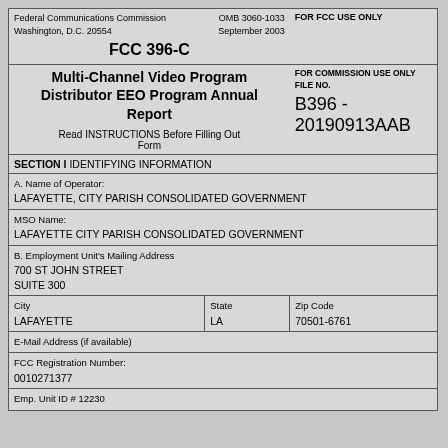| Federal Communications Commission
Washington, D.C. 20554 | OMB 3060-1033
September 2003 | FOR FCC USE ONLY |
| FCC 396-C |  |  |
| Multi-Channel Video Program Distributor EEO Program Annual Report

Read INSTRUCTIONS Before Filling Out Form |  | FOR COMMISSION USE ONLY
FILE NO.
B396 - 20190913AAB |
| SECTION I IDENTIFYING INFORMATION |  |  |
| A. Name of Operator:
LAFAYETTE, CITY PARISH CONSOLIDATED GOVERNMENT |  |  |
| MSO Name:
LAFAYETTE CITY PARISH CONSOLIDATED GOVERNMENT |  |  |
| B. Employment Unit's Mailing Address
700 ST JOHN STREET
SUITE 300 |  |  |
| City
LAFAYETTE | State
LA | Zip Code
70501-6761 |
| E-Mail Address (if available) |  |  |
| FCC Registration Number:
0010271377 |  |  |
| Emp. Unit ID # 12230 |  |  |